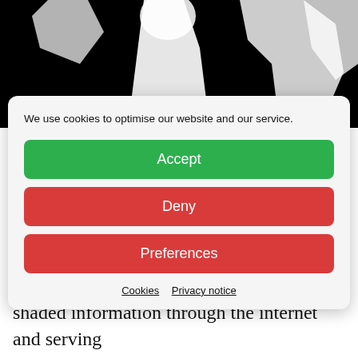[Figure (photo): Black and white image showing a silhouette figure, partially visible at the top of the page]
We use cookies to optimise our website and our service.
Accept
Deny
Preferences
Cookies   Privacy notice
lawyer as Emirati authorities investigated him on charges of “promoting false and shaded information through the internet and serving